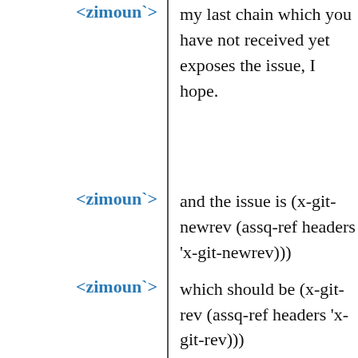<zimoun`> my last chain which you have not received yet exposes the issue, I hope.
<zimoun`> and the issue is (x-git-newrev (assq-ref headers 'x-git-newrev)))
<zimoun`> which should be (x-git-rev (assq-ref headers 'x-git-rev)))
<clone11> When I try to install rust it tries to build the whole chain from 1.41. Is this an issue on my end? Other substitutions seem to be